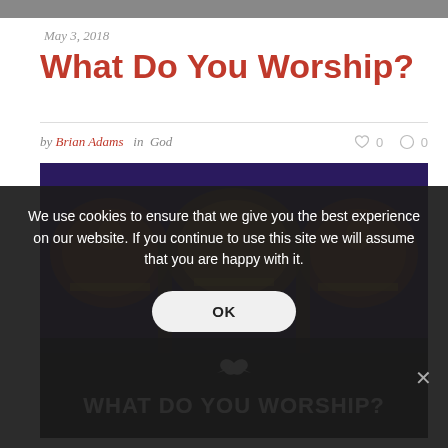May 3, 2018
What Do You Worship?
by Brian Adams  in God    ♡ 0  ◯ 0
[Figure (photo): Church interior with golden mosaic frescoes and arched ceilings, overlaid with a dark banner reading 'WHAT DO YOU WORSHIP?' with a dove icon]
We use cookies to ensure that we give you the best experience on our website. If you continue to use this site we will assume that you are happy with it.
OK
Since people first scratched out petroglyphs, we have had one...